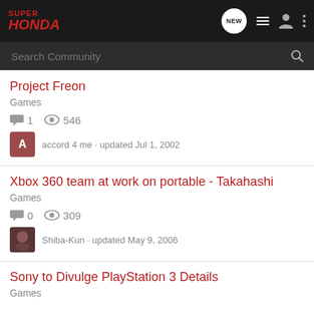Super Honda
Project Freon
Games
1 comment · 546 views
acord 4 me · updated Jul 1, 2002
Xbox 360 team at work on portable - Takahashi
Games
0 comments · 309 views
Shiba-Kun · updated May 9, 2006
Sony to Divulge PlayStation 3 Details
Games